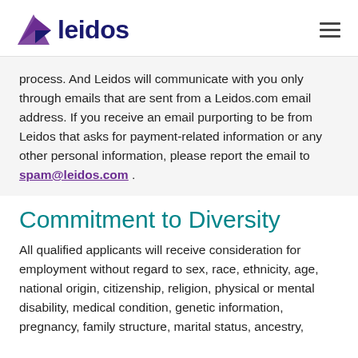leidos
process. And Leidos will communicate with you only through emails that are sent from a Leidos.com email address. If you receive an email purporting to be from Leidos that asks for payment-related information or any other personal information, please report the email to spam@leidos.com .
Commitment to Diversity
All qualified applicants will receive consideration for employment without regard to sex, race, ethnicity, age, national origin, citizenship, religion, physical or mental disability, medical condition, genetic information, pregnancy, family structure, marital status, ancestry, domestic partner status, and/or registration as a...